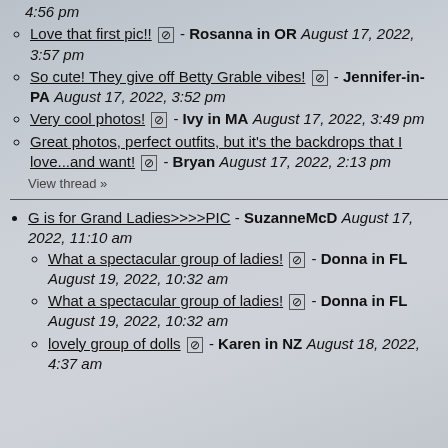4:56 pm
Love that first pic!! ⊘ - Rosanna in OR August 17, 2022, 3:57 pm
So cute! They give off Betty Grable vibes! ⊘ - Jennifer-in-PA August 17, 2022, 3:52 pm
Very cool photos! ⊘ - Ivy in MA August 17, 2022, 3:49 pm
Great photos, perfect outfits, but it's the backdrops that I love...and want! ⊘ - Bryan August 17, 2022, 2:13 pm
View thread »
G is for Grand Ladies>>>>PIC - SuzanneMcD August 17, 2022, 11:10 am
What a spectacular group of ladies! ⊘ - Donna in FL August 19, 2022, 10:32 am
What a spectacular group of ladies! ⊘ - Donna in FL August 19, 2022, 10:32 am
lovely group of dolls ⊘ - Karen in NZ August 18, 2022, 4:37 am